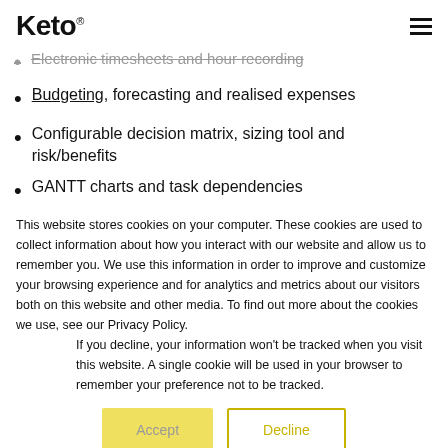Keto
Electronic timesheets and hour recording
Budgeting, forecasting and realised expenses
Configurable decision matrix, sizing tool and risk/benefits
GANTT charts and task dependencies
What If? scenario planning
This website stores cookies on your computer. These cookies are used to collect information about how you interact with our website and allow us to remember you. We use this information in order to improve and customize your browsing experience and for analytics and metrics about our visitors both on this website and other media. To find out more about the cookies we use, see our Privacy Policy.
If you decline, your information won't be tracked when you visit this website. A single cookie will be used in your browser to remember your preference not to be tracked.
Accept | Decline